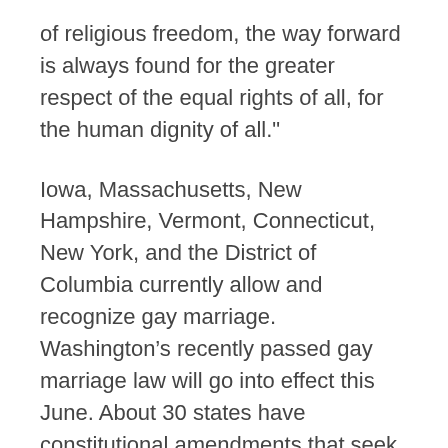of religious freedom, the way forward is always found for the greater respect of the equal rights of all, for the human dignity of all."
Iowa, Massachusetts, New Hampshire, Vermont, Connecticut, New York, and the District of Columbia currently allow and recognize gay marriage. Washington’s recently passed gay marriage law will go into effect this June. About 30 states have constitutional amendments that seek to prohibit same-sex marriage.
Opponents are already mobilizing against the new law in Maryland, pushing for a referendum as a way to reverse the change this fall. They will need to gather 56,000 valid signatures to put the measure on the November ballot.